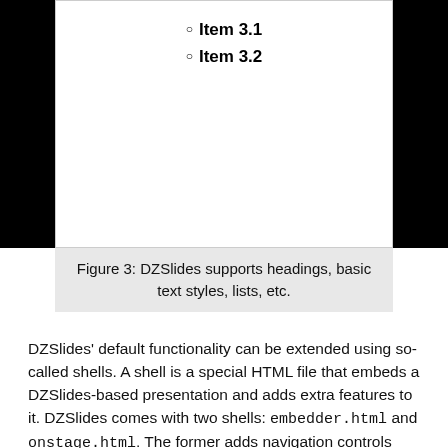[Figure (screenshot): A partial slide preview showing two list items: Item 3.1 and Item 3.2, with black bars on the left and right sides.]
Figure 3: DZSlides supports headings, basic text styles, lists, etc.
DZSlides' default functionality can be extended using so-called shells. A shell is a special HTML file that embeds a DZSlides-based presentation and adds extra features to it. DZSlides comes with two shells: embedder.html and onstage.html. The former adds navigation controls and a slide count. These features can be useful for viewing DZSlides presentations embedded into web pages.
The onstage.html shell (Figure 4) adds a presenter screen with the current and next slide side-by-side, the total slide count, and a clock. The shell makes it possible to open the presentation in a separate window and control the slides from the presenter screen. But, that's not all. You can add presenter notes to slides using the <div role="note"></div> tags. The onstage.html shell displays these notes in the bottom pane of